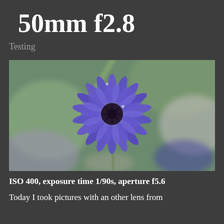50mm f2.8
Testing
[Figure (photo): Close-up macro photograph of a blue cornflower (Centaurea cyanus) in full bloom against a blurred green and grey background. The flower has vivid purple-blue petals radiating from a dark centre with small black stamens.]
ISO 400, exposure time 1/90s, aperture f5.6
Today I took pictures with an other lens from